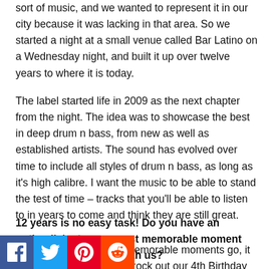sort of music, and we wanted to represent it in our city because it was lacking in that area. So we started a night at a small venue called Bar Latino on a Wednesday night, and built it up over twelve years to where it is today.
The label started life in 2009 as the next chapter from the night. The idea was to showcase the best in deep drum n bass, from new as well as established artists. The sound has evolved over time to include all styles of drum n bass, as long as it's high calibre. I want the music to be able to stand the test of time – tracks that you'll be able to listen to in years to come and think they are still great.
12 years is no easy task! Do you have an outlandish story or most memorable moment that you'd can share with us?
That's to do... As far as memorable moments go, it has to be seeing Andy C rock out our 4th Birthday at Dojo Lounge
[Figure (infographic): Social media sharing icons: Facebook (blue), Twitter (blue), Pinterest (red), Reddit (orange)]